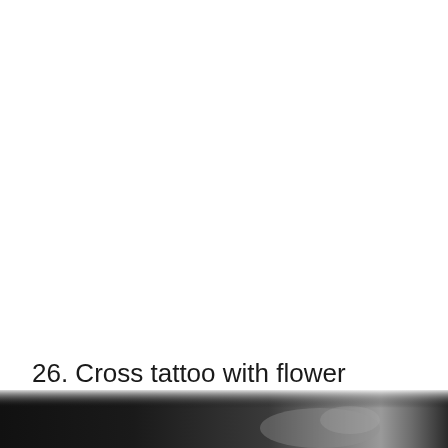26. Cross tattoo with flower
[Figure (photo): Bottom strip of a dark close-up photograph, showing what appears to be skin or fabric in dark grey and black tones, partially visible at the bottom of the page.]